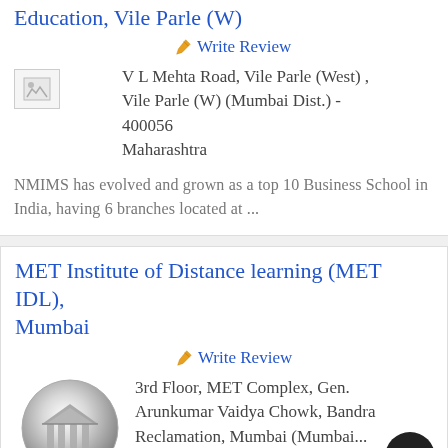Education, Vile Parle (W)
Write Review
V L Mehta Road, Vile Parle (West) , Vile Parle (W) (Mumbai Dist.) - 400056
Maharashtra
NMIMS has evolved and grown as a top 10 Business School in India, having 6 branches located at ...
MET Institute of Distance learning (MET IDL), Mumbai
Write Review
3rd Floor, MET Complex, Gen. Arunkumar Vaidya Chowk, Bandra Reclamation, Mumbai (Mumbai...